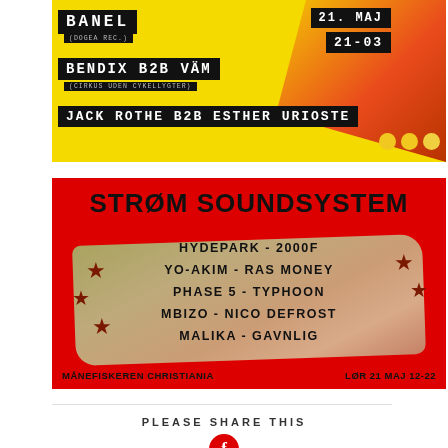[Figure (illustration): Event flyer with black text bars on yellow/red flame background. Text: BANEL, BENDIX B2B VÄM (CIRKUS UDEN CYKELLYGTER), JACK ROTHE B2B ESTHER URIOSTE, date 21. MAJ, 21-03, three yellow/white dots.]
[Figure (illustration): Red background event poster: STRØM SOUNDSYSTEM. Lineup on collage background with stars: HYDEPARK - 2000F, YO-AKIM - RAS MONEY, PHASE 5 - TYPHOON, MBIZO - NICO DEFROST, MALIKA - GAVNLIG. Venue: MÅNEFISKEREN CHRISTIANIA. Date: LØR 21 MAJ 12-22.]
PLEASE SHARE THIS